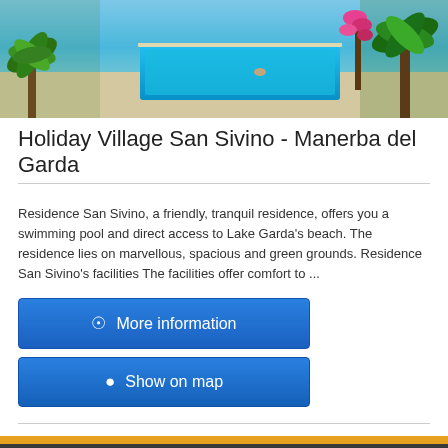[Figure (photo): Aerial/ground-level photo of a holiday village with a swimming pool, palm trees, and flowering plants near Lake Garda]
Holiday Village San Sivino - Manerba del Garda
Residence San Sivino, a friendly, tranquil residence, offers you a swimming pool and direct access to Lake Garda's beach. The residence lies on marvellous, spacious and green grounds. Residence San Sivino's facilities The facilities offer comfort to ...
More information
Show on map
Imprint | Contact | Sitemap | Informazioni per albergatori | Desktop version
powered by webEdition CMS